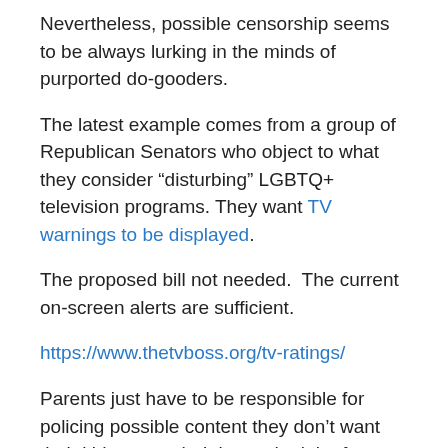Nevertheless, possible censorship seems to be always lurking in the minds of purported do-gooders.
The latest example comes from a group of Republican Senators who object to what they consider “disturbing” LGBTQ+ television programs. They want TV warnings to be displayed.
The proposed bill not needed.  The current on-screen alerts are sufficient.
https://www.thetvboss.org/tv-ratings/
Parents just have to be responsible for policing possible content they don’t want their kids to watch. It is not the job of congress to legislate family decisions.
America has a long history of seemingly well-intended